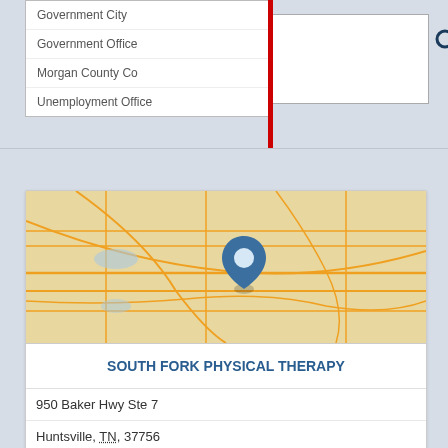Government City
Government Office
Morgan County Co
Unemployment Office
[Figure (map): Map showing location of South Fork Physical Therapy in Huntsville, TN with a blue pin marker]
SOUTH FORK PHYSICAL THERAPY
950 Baker Hwy Ste 7
Huntsville, TN, 37756
8778392390
Clinics
Free Clinic
Free Clinics
Massage Therapy
Medical
[Figure (map): Second map showing another location with a blue pin marker]